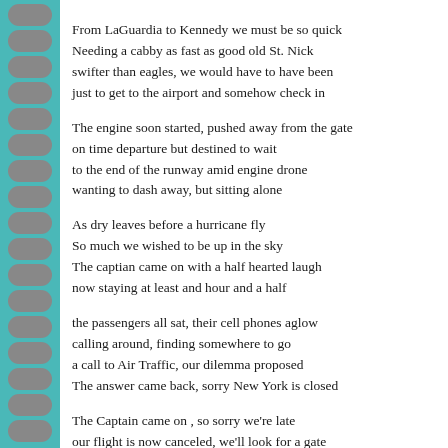From LaGuardia to Kennedy we must be so quick
Needing a cabby as fast as good old St. Nick
swifter than eagles, we would have to have been
just to get to the airport and somehow check in
The engine soon started, pushed away from the gate
on time departure but destined to wait
to the end of the runway amid engine drone
wanting to dash away, but sitting alone
As dry leaves before a hurricane fly
So much we wished to be up in the sky
The captian came on with a half hearted laugh
now staying at least and hour and a half
the passengers all sat, their cell phones aglow
calling around, finding somewhere to go
a call to Air Traffic, our dilemma proposed
The answer came back, sorry New York is closed
The Captain came on , so sorry we're late
our flight is now canceled, we'll look for a gate
we sat hour more, not moving an inch
gates must be controlled by the infamous grinch